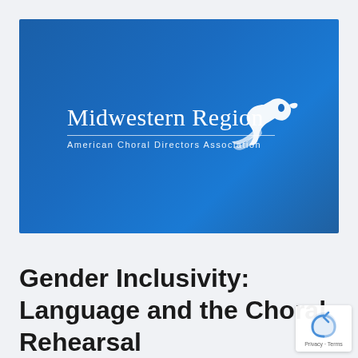[Figure (logo): Midwestern Region American Choral Directors Association logo — white text and stylized bird/conductor silhouette on blue gradient background]
Gender Inclusivity: Language and the Choral Rehearsal